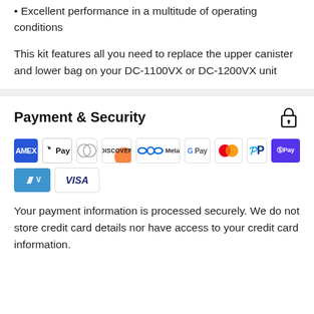• Excellent performance in a multitude of operating conditions
This kit features all you need to replace the upper canister and lower bag on your DC-1100VX or DC-1200VX unit
Payment & Security
[Figure (infographic): Payment method logos: AMEX, Apple Pay, Diners Club, Discover, Meta Pay, Google Pay, Mastercard, PayPal, Shop Pay, Venmo, Visa]
Your payment information is processed securely. We do not store credit card details nor have access to your credit card information.